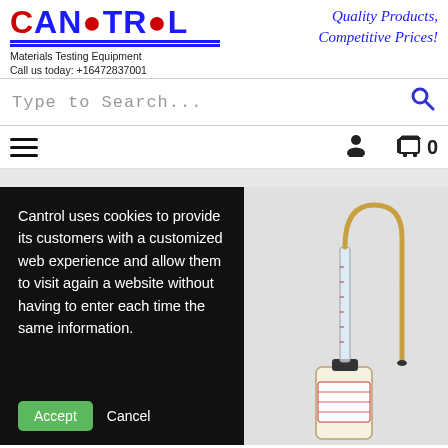[Figure (logo): Cantrol logo with red C and blue ANTROL text, underlined]
Materials Testing Equipment
Call us today: +16472837001
Quality Products, Competitive Prices!
Type to Search...
Cantrol uses cookies to provide its customers with a customized web experience and allow them to visit again a website without having to enter each time the same information.
Accept
Cancel
[Figure (photo): Photo of a materials testing equipment device (viscometer or similar) with a curved metal tube and graduated glass tube, against a light gray background]